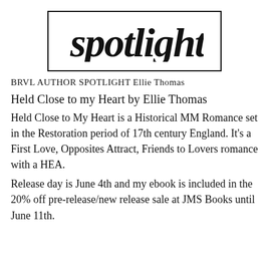[Figure (logo): Spotlight logo in cursive/script font inside a rectangular border]
BRVL AUTHOR SPOTLIGHT Ellie Thomas
Held Close to my Heart by Ellie Thomas
Held Close to My Heart is a Historical MM Romance set in the Restoration period of 17th century England. It's a First Love, Opposites Attract, Friends to Lovers romance with a HEA.
Release day is June 4th and my ebook is included in the 20% off pre-release/new release sale at JMS Books until June 11th.